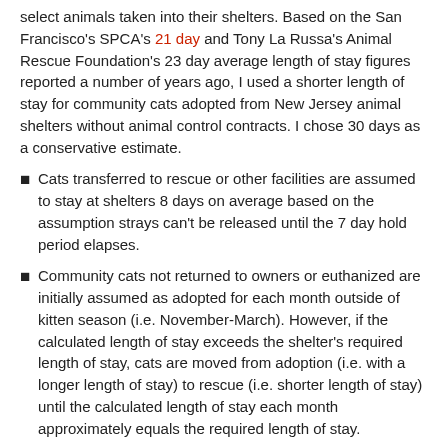select animals taken into their shelters. Based on the San Francisco's SPCA's 21 day and Tony La Russa's Animal Rescue Foundation's 23 day average length of stay figures reported a number of years ago, I used a shorter length of stay for community cats adopted from New Jersey animal shelters without animal control contracts. I chose 30 days as a conservative estimate.
Cats transferred to rescue or other facilities are assumed to stay at shelters 8 days on average based on the assumption strays can't be released until the 7 day hold period elapses.
Community cats not returned to owners or euthanized are initially assumed as adopted for each month outside of kitten season (i.e. November-March). However, if the calculated length of stay exceeds the shelter's required length of stay, cats are moved from adoption (i.e. with a longer length of stay) to rescue (i.e. shorter length of stay) until the calculated length of stay each month approximately equals the required length of stay.
During kitten season (April-October), animal control shelters are assumed to send a certain percentage of